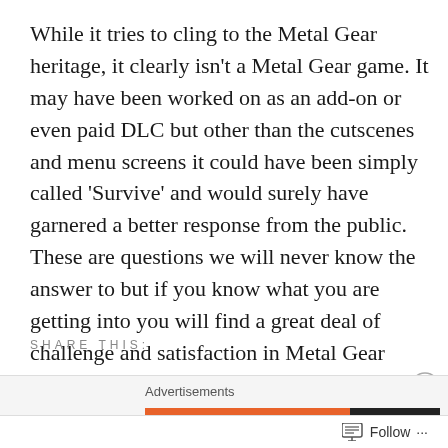While it tries to cling to the Metal Gear heritage, it clearly isn't a Metal Gear game. It may have been worked on as an add-on or even paid DLC but other than the cutscenes and menu screens it could have been simply called 'Survive' and would surely have garnered a better response from the public. These are questions we will never know the answer to but if you know what you are getting into you will find a great deal of challenge and satisfaction in Metal Gear Survive if very little fun at a budget price.
SHARE THIS:
Advertisements
[Figure (screenshot): DuckDuckGo advertisement banner: orange background with text 'Search, browse, and email with more privacy.' and DuckDuckGo duck logo on dark background]